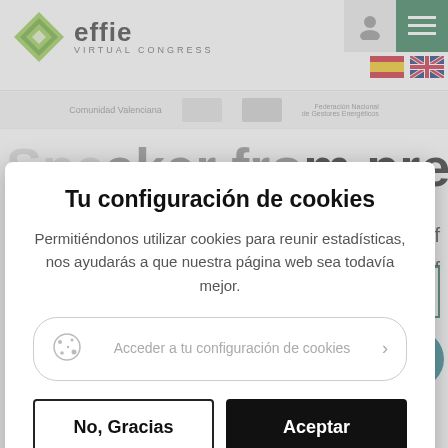[Figure (screenshot): Effie Virtual Congress website header with green diamond logo, user icon, hamburger menu icon, and language flags (Spanish and English)]
Tu configuración de cookies
Permitiéndonos utilizar cookies para reunir estadísticas, nos ayudarás a que nuestra página web sea todavía mejor.
Acceder a tu configuración de cookies
No, Gracias
Aceptar